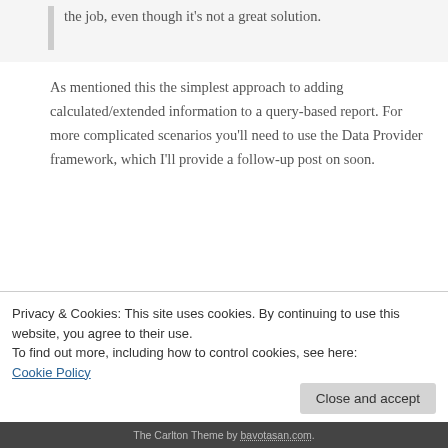the job, even though it's not a great solution.
As mentioned this the simplest approach to adding calculated/extended information to a query-based report. For more complicated scenarios you'll need to use the Data Provider framework, which I'll provide a follow-up post on soon.
Tags: AX2012 Query Reporting SSRS
← Debug managed code executing on a remote AOS in AX 2012
Dynamics AX: Calling a Custom Dynamics AX 2009 SSRS report and passing parameters... From X++ →
Privacy & Cookies: This site uses cookies. By continuing to use this website, you agree to their use.
To find out more, including how to control cookies, see here:
Cookie Policy
Close and accept
The Carlton Theme by bavotasan.com.